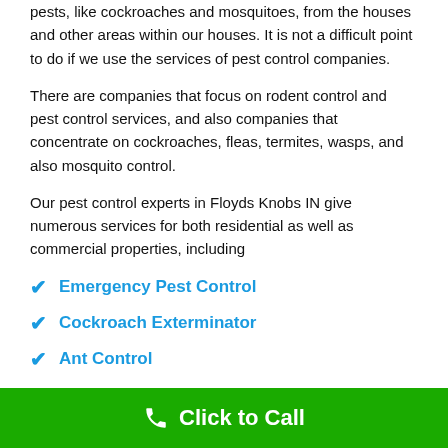pests, like cockroaches and mosquitoes, from the houses and other areas within our houses. It is not a difficult point to do if we use the services of pest control companies.
There are companies that focus on rodent control and pest control services, and also companies that concentrate on cockroaches, fleas, termites, wasps, and also mosquito control.
Our pest control experts in Floyds Knobs IN give numerous services for both residential as well as commercial properties, including
Emergency Pest Control
Cockroach Exterminator
Ant Control
Rodent control
Click to Call